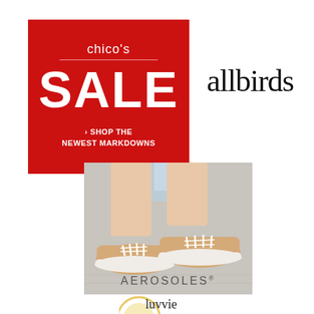[Figure (logo): Chico's Sale advertisement: red background box with white text reading chico's, horizontal line, SALE in large bold letters, and '> SHOP THE NEWEST MARKDOWNS' below]
[Figure (logo): Allbirds brand logo in handwritten/script font, black text on white background]
[Figure (photo): Aerosoles brand photo showing a person's legs wearing tan/beige lace-up sneakers with white soles, on a light grey surface. AEROSOLES text visible at the bottom of the image.]
[Figure (logo): Partial view at bottom of page, appears to be another brand logo partially visible]